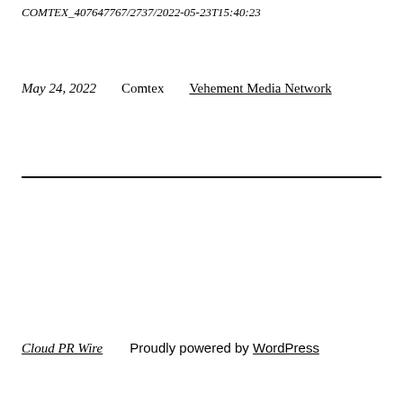COMTEX_407647767/2737/2022-05-23T15:40:23
May 24, 2022   Comtex   Vehement Media Network
Cloud PR Wire   Proudly powered by WordPress